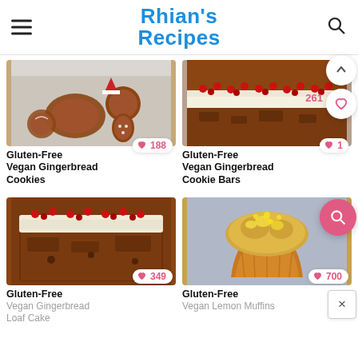Rhian's Recipes
[Figure (photo): Gluten-free vegan gingerbread cookies on a light background with a Santa decoration]
Gluten-Free Vegan Gingerbread Cookies
♥ 188
[Figure (photo): Gluten-free vegan gingerbread cookie bars with white frosting and red cranberries on top]
Gluten-Free Vegan Gingerbread Cookie Bars
♥ 1
261
[Figure (photo): Gluten-free vegan gingerbread loaf cake with white frosting and red cranberries]
Gluten-Free Vegan Gingerbread Loaf Cake
♥ 349
[Figure (photo): Gluten-free vegan lemon muffin in a golden muffin case]
Gluten-Free Vegan Lemon Muffins
♥ 700